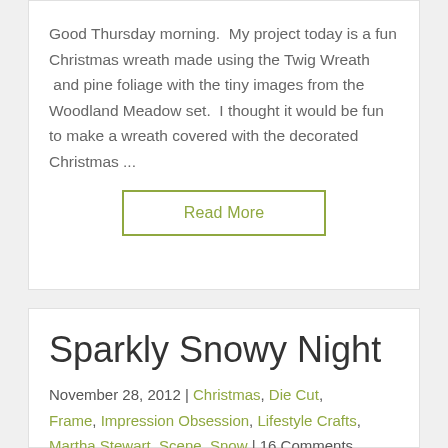Good Thursday morning.  My project today is a fun Christmas wreath made using the Twig Wreath  and pine foliage with the tiny images from the Woodland Meadow set.  I thought it would be fun to make a wreath covered with the decorated Christmas ...
Read More
Sparkly Snowy Night
November 28, 2012 | Christmas, Die Cut, Frame, Impression Obsession, Lifestyle Crafts, Martha Stewart, Scene, Snow | 16 Comments
Good Wednesday morning.  I have a cute project to share with you today that I made for